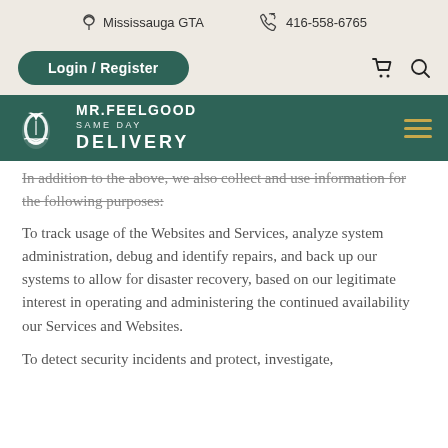Mississauga GTA   416-558-6765
[Figure (logo): Mr. Feelgood Same Day Delivery logo with Login/Register button, cart and search icons, and hamburger menu on dark green navigation bar]
In addition to the above, we also collect and use information for the following purposes:
To track usage of the Websites and Services, analyze system administration, debug and identify repairs, and back up our systems to allow for disaster recovery, based on our legitimate interest in operating and administering the continued availability our Services and Websites.
To detect security incidents and protect, investigate,